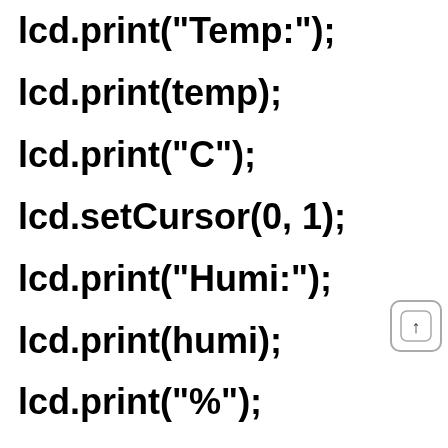lcd.print("Temp:");
lcd.print(temp);
lcd.print("C");
lcd.setCursor(0, 1);
lcd.print("Humi:");
lcd.print(humi);
lcd.print("%");
[Figure (other): Scroll up icon inside a rounded rectangle]